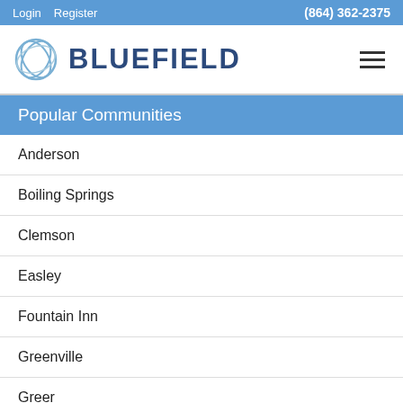Login  Register  (864) 362-2375
[Figure (logo): Bluefield logo with circular wire frame icon and text BLUEFIELD in dark blue, hamburger menu icon on right]
Popular Communities
Anderson
Boiling Springs
Clemson
Easley
Fountain Inn
Greenville
Greer
Mauldin